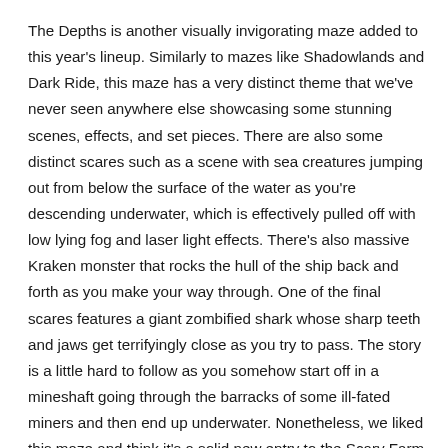The Depths is another visually invigorating maze added to this year's lineup. Similarly to mazes like Shadowlands and Dark Ride, this maze has a very distinct theme that we've never seen anywhere else showcasing some stunning scenes, effects, and set pieces. There are also some distinct scares such as a scene with sea creatures jumping out from below the surface of the water as you're descending underwater, which is effectively pulled off with low lying fog and laser light effects. There's also massive Kraken monster that rocks the hull of the ship back and forth as you make your way through. One of the final scares features a giant zombified shark whose sharp teeth and jaws get terrifyingly close as you try to pass. The story is a little hard to follow as you somehow start off in a mineshaft going through the barracks of some ill-fated miners and then end up underwater. Nonetheless, we liked this maze and think it's a solid new entry to the Scary Farm line-up.